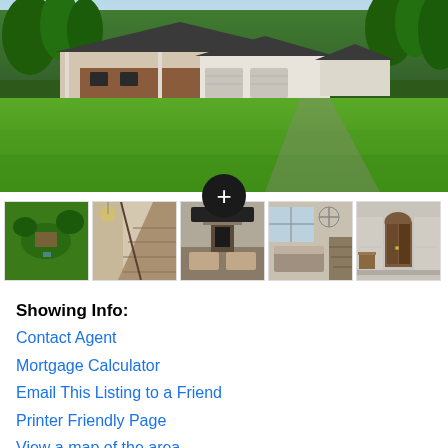[Figure (photo): Main real estate photo showing a single-story brick and white ranch house with large green lawn, surrounded by trees, taken from the front.]
[Figure (photo): Thumbnail row of 5 property photos: aerial view of property, interior staircase, living room with fireplace, living room with stairs, entryway/hallway with arched door. A black circular plus (+) button overlays the third thumbnail.]
Showing Info:
Contact Agent
Mortgage Calculator
Email This Listing to a Friend
Printer Friendly Page
View a map of the area